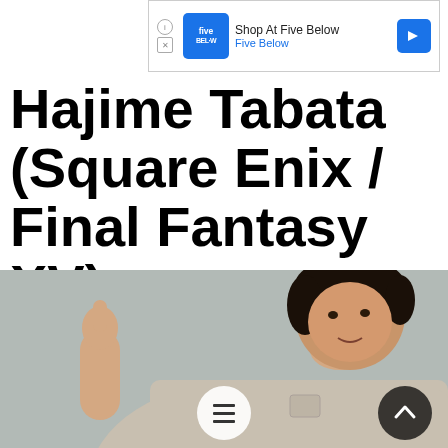[Figure (screenshot): Google ad banner for Five Below showing blue logo box, 'Shop At Five Below' headline, 'Five Below' subtext in blue, and a blue directional arrow icon on the right.]
Hajime Tabata (Square Enix / Final Fantasy XV)
[Figure (photo): A man wearing a light beige/khaki t-shirt sitting and gesturing with a thumbs-up. He has short dark hair, is smiling slightly, and appears to be in conversation. The background is a plain grey wall. Two circular UI buttons appear at the bottom: a hamburger menu button and an upward-chevron scroll-to-top button.]